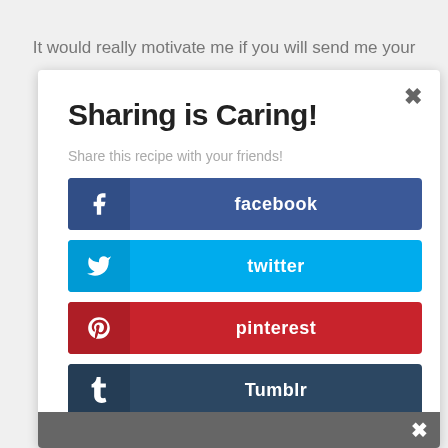It would really motivate me if you will send me your
Sharing is Caring!
Share this recipe with your friends!
facebook
twitter
pinterest
Tumblr
reddit
Evernote